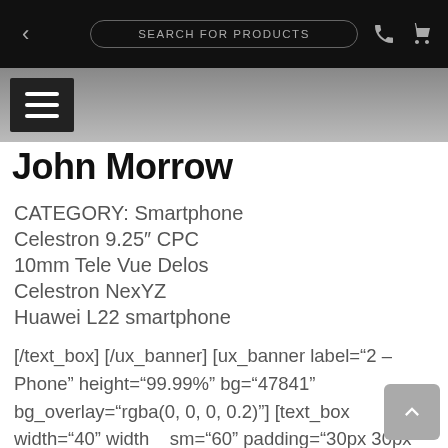SEARCH FOR PRODUCTS
John Morrow
CATEGORY: Smartphone
Celestron 9.25″ CPC
10mm Tele Vue Delos
Celestron NexYZ
Huawei L22 smartphone
[/text_box] [/ux_banner] [ux_banner label="2 – Phone" height="99.99%" bg="47841" bg_overlay="rgba(0, 0, 0, 0.2)"] [text_box width="40" width__sm="60" padding="30px 30px 30px 30px" position_x="5" position_y="50" bg="rgba(0, 0, 0, 0.86)" depth="3"]